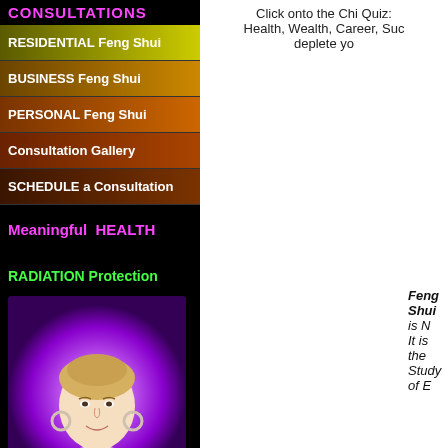CONSULTATIONS
RESIDENTIAL Feng Shui
BUSINESS Feng Shui
PERSONAL Feng Shui
Consultation Gallery
SCHEDULE a Consultation
Meaningful  HEALTH
RADIATION Protection
[Figure (photo): Portrait photo of a blonde woman wearing white top and hoop earrings, against a purple gradient background]
Click onto the Chi Quiz: Health, Wealth, Career, Suc... deplete yo...
Feng Shui is N... It is the Study of E...